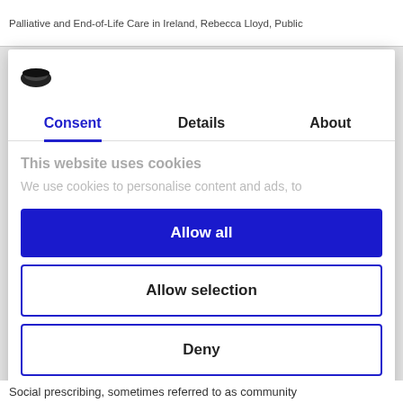Palliative and End-of-Life Care in Ireland, Rebecca Lloyd, Public
[Figure (logo): Cookiebot logo — dark oval/hat shape icon]
Consent | Details | About
This website uses cookies
We use cookies to personalise content and ads, to
Allow all
Allow selection
Deny
Powered by Cookiebot by Usercentrics
Social prescribing, sometimes referred to as community